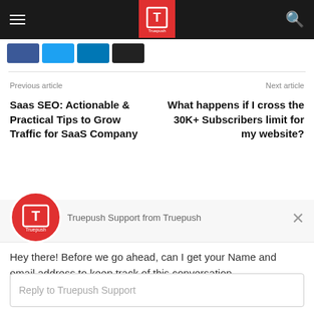Truepush navigation bar with hamburger menu, Truepush logo, and search icon
[Figure (screenshot): Social share buttons: Facebook (blue), Twitter (cyan), LinkedIn (dark blue), and one black button]
Previous article
Next article
Saas SEO: Actionable & Practical Tips to Grow Traffic for SaaS Company
What happens if I cross the 30K+ Subscribers limit for my website?
[Figure (screenshot): Truepush chat support widget showing logo, support agent name, message, and reply input field]
Truepush Support from Truepush
Hey there! Before we go ahead, can I get your Name and email address to keep track of this conversation.
Reply to Truepush Support